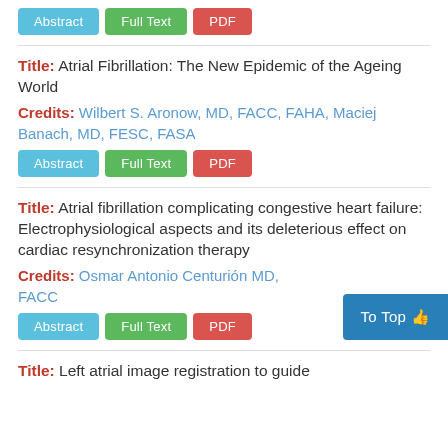Buttons: Abstract, Full Text, PDF
Title: Atrial Fibrillation: The New Epidemic of the Ageing World
Credits: Wilbert S. Aronow, MD, FACC, FAHA, Maciej Banach, MD, FESC, FASA
Buttons: Abstract, Full Text, PDF
Title: Atrial fibrillation complicating congestive heart failure: Electrophysiological aspects and its deleterious effect on cardiac resynchronization therapy
Credits: Osmar Antonio Centurión MD, FACC
Buttons: Abstract, Full Text, PDF
Title: Left atrial image registration to guide